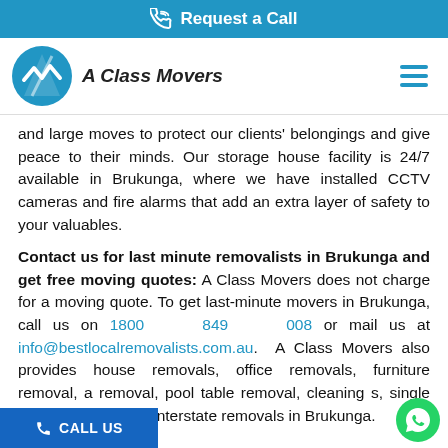Request a Call
[Figure (logo): A Class Movers company logo with circular blue icon and italic bold text 'A Class Movers']
and large moves to protect our clients' belongings and give peace to their minds. Our storage house facility is 24/7 available in Brukunga, where we have installed CCTV cameras and fire alarms that add an extra layer of safety to your valuables.
Contact us for last minute removalists in Brukunga and get free moving quotes: A Class Movers does not charge for a moving quote. To get last-minute movers in Brukunga, call us on 1800 849 008 or mail us at info@bestlocalremovalists.com.au. A Class Movers also provides house removals, office removals, furniture removal, a removal, pool table removal, cleaning s, single item removals, and interstate removals in Brukunga.